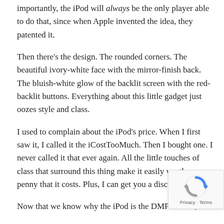importantly, the iPod will always be the only player able to do that, since when Apple invented the idea, they patented it.
Then there's the design. The rounded corners. The beautiful ivory-white face with the mirror-finish back. The bluish-white glow of the backlit screen with the red-backlit buttons. Everything about this little gadget just oozes style and class.
I used to complain about the iPod's price. When I first saw it, I called it the iCostTooMuch. Then I bought one. I never called it that ever again. All the little touches of class that surround this thing make it easily worth every penny that it costs. Plus, I can get you a discount. G
Now that we know why the iPod is the DMP to own, let